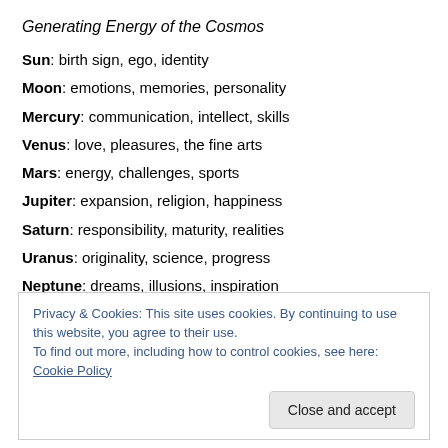Generating Energy of the Cosmos
Sun: birth sign, ego, identity
Moon: emotions, memories, personality
Mercury: communication, intellect, skills
Venus: love, pleasures, the fine arts
Mars: energy, challenges, sports
Jupiter: expansion, religion, happiness
Saturn: responsibility, maturity, realities
Uranus: originality, science, progress
Neptune: dreams, illusions, inspiration
Privacy & Cookies: This site uses cookies. By continuing to use this website, you agree to their use. To find out more, including how to control cookies, see here: Cookie Policy